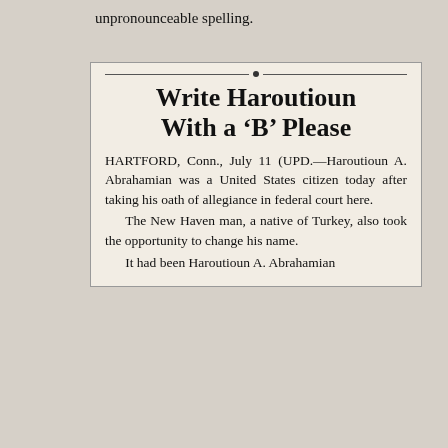unpronounceable spelling.
[Figure (other): Newspaper clipping with headline and article text about Haroutioun A. Abrahamian becoming a US citizen and changing his name.]
Write Haroutioun With a ‘B’ Please
HARTFORD, Conn., July 11 (UPD.—Haroutioun A. Abrahamian was a United States citizen today after taking his oath of allegiance in federal court here. The New Haven man, a native of Turkey, also took the opportunity to change his name. It had been Haroutioun A. Abrahamian...